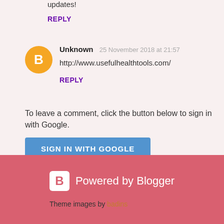updates!
REPLY
Unknown  25 November 2018 at 21:57
http://www.usefulhealthtools.com/
REPLY
To leave a comment, click the button below to sign in with Google.
SIGN IN WITH GOOGLE
Powered by Blogger
Theme images by badins